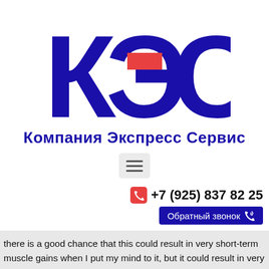[Figure (logo): КЭС logo — large dark blue Cyrillic letters К Э С with a red rectangle accent on the letter Э]
Компания Экспресс Сервис
[Figure (other): Hamburger menu button (three horizontal lines) inside a light grey rounded rectangle]
+7 (925) 837 82 25
Обратный звонок
there is a good chance that this could result in very short-term muscle gains when I put my mind to it, but it could result in very long-term muscle growth if I keep hitting those specific muscle growth goals on both a regular basis, bulking 1 pound a week.